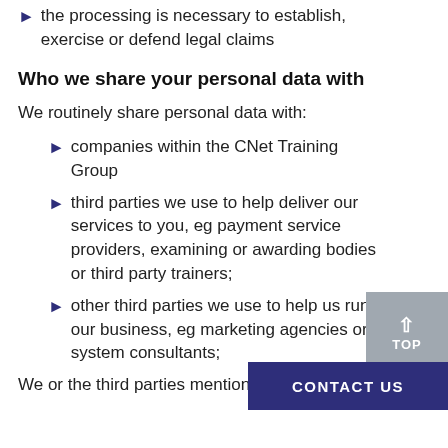the processing is necessary to establish, exercise or defend legal claims
Who we share your personal data with
We routinely share personal data with:
companies within the CNet Training Group
third parties we use to help deliver our services to you, eg payment service providers, examining or awarding bodies or third party trainers;
other third parties we use to help us run our business, eg marketing agencies or system consultants;
We or the third parties mentioned above